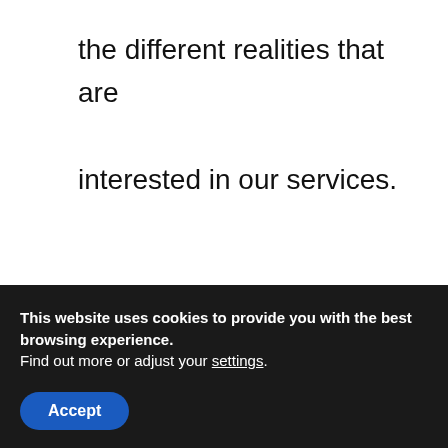the different realities that are interested in our services.

For this reason, our hotels are often integrated into our business parks and occupy large spaces and green areas that add value to a welcoming and
This website uses cookies to provide you with the best browsing experience.
Find out more or adjust your settings.